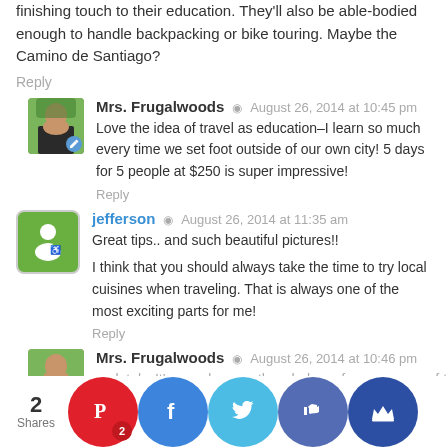finishing touch to their education. They'll also be able-bodied enough to handle backpacking or bike touring. Maybe the Camino de Santiago?
Reply
Mrs. Frugalwoods · August 26, 2014 at 10:45 pm
Love the idea of travel as education–I learn so much every time we set foot outside of our own city! 5 days for 5 people at $250 is super impressive!
Reply
jefferson · August 26, 2014 at 11:35 am
Great tips.. and such beautiful pictures!!
I think that you should always take the time to try local cuisines when traveling. That is always one of the most exciting parts for me!
Reply
Mrs. Frugalwoods · August 26, 2014 at 10:46 pm
...olutely. It's... and parce... the whole... of-your-zone... of tra...
2 Shares